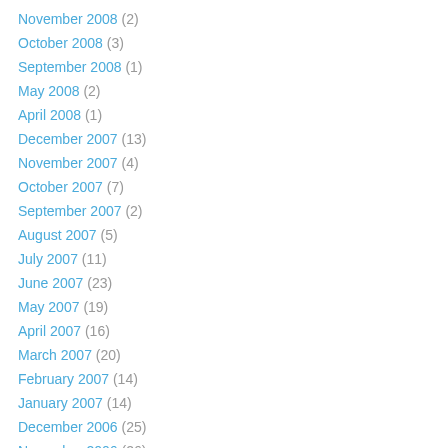November 2008 (2)
October 2008 (3)
September 2008 (1)
May 2008 (2)
April 2008 (1)
December 2007 (13)
November 2007 (4)
October 2007 (7)
September 2007 (2)
August 2007 (5)
July 2007 (11)
June 2007 (23)
May 2007 (19)
April 2007 (16)
March 2007 (20)
February 2007 (14)
January 2007 (14)
December 2006 (25)
November 2006 (26)
October 2006 (33)